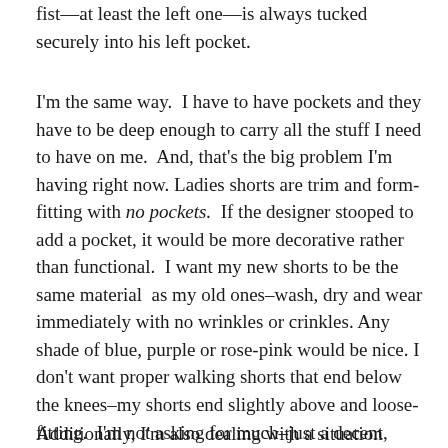fist—at least the left one—is always tucked securely into his left pocket.
I'm the same way.  I have to have pockets and they have to be deep enough to carry all the stuff I need to have on me.  And, that's the big problem I'm having right now. Ladies shorts are trim and form-fitting with no pockets.  If the designer stooped to add a pocket, it would be more decorative rather than functional.  I want my new shorts to be the same material  as my old ones–wash, dry and wear immediately with no wrinkles or crinkles. Any shade of blue, purple or rose-pink would be nice. I don't want proper walking shorts that end below the knees–my shorts end slightly above and loose-fitting.  I'm not asking for much–just a decent, comfy pair of shorts with deep pockets.  With all the summer sales going on, I have yet to find my perfect you-know-what. Until I get another pair like the one I'm wearing now, I'm not giving up—I'll keep on searching.
Additionally, I'm also dealing with a situation where I am